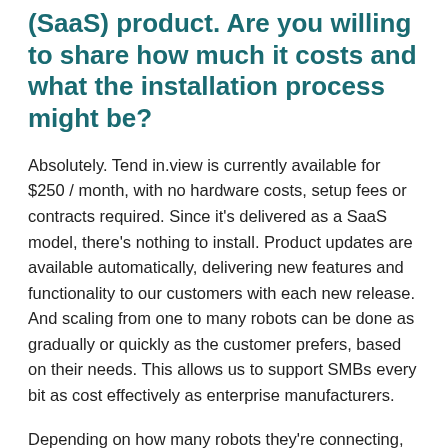(SaaS) product.  Are you willing to share how much it costs and what the installation process might be?
Absolutely.  Tend in.view is currently available for $250 / month, with no hardware costs, setup fees or contracts required.  Since it's delivered as a SaaS model, there's nothing to install.  Product updates are available automatically, delivering new features and functionality to our customers with each new release.  And scaling from one to many robots can be done as gradually or quickly as the customer prefers, based on their needs.  This allows us to support SMBs every bit as cost effectively as enterprise manufacturers.
Depending on how many robots they're connecting,